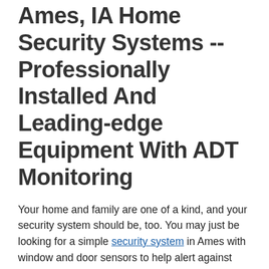Ames, IA Home Security Systems -- Professionally Installed And Leading-edge Equipment With ADT Monitoring
Your home and family are one of a kind, and your security system should be, too. You may just be looking for a simple security system in Ames with window and door sensors to help alert against intruders. Then again, maybe you're looking for a full system that comes with fire alarms, outdoor security cameras, and remote access control. Regardless of the system you invest in, it's good to know you'll get 24/7 monitoring with ADT.